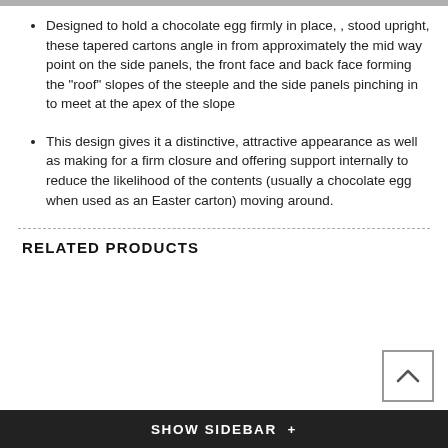Designed to hold a chocolate egg firmly in place, , stood upright, these tapered cartons angle in from approximately the mid way point on the side panels, the front face and back face forming the "roof" slopes of the steeple and the side panels pinching in to meet at the apex of the slope
This design gives it a distinctive, attractive appearance as well as making for a firm closure and offering support internally to reduce the likelihood of the contents (usually a chocolate egg when used as an Easter carton) moving around.
RELATED PRODUCTS
SHOW SIDEBAR +